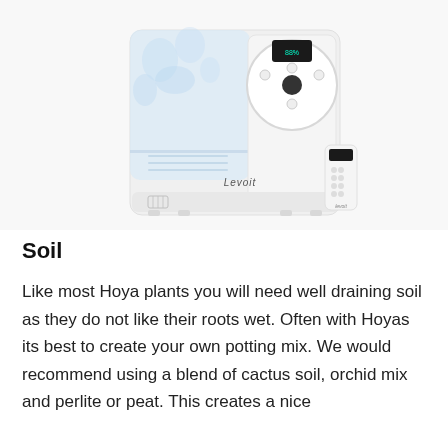[Figure (photo): Photo of a white Levoit humidifier with a water tank visible, digital display panel on top, and a small white remote control beside it. The humidifier is shown against a white background with a light blue water splash effect visible inside the tank.]
Soil
Like most Hoya plants you will need well draining soil as they do not like their roots wet. Often with Hoyas its best to create your own potting mix. We would recommend using a blend of cactus soil, orchid mix and perlite or peat. This creates a nice